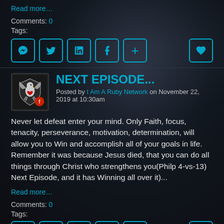Read more…
Comments: 0
Tags:
[Figure (other): Row of social share buttons: Messenger, Twitter, LinkedIn, Facebook, Plus, and a heart/favorite button on the right]
NEXT EPISODE...
Posted by I Am A Ruby Network on November 22, 2019 at 10:30am
Never let defeat enter your mind. Only Faith, focus, tenacity, perseverance, motivation, determination, will allow you to Win and accomplish all of your goals in life. Remember it was because Jesus died, that you can do all things through Christ who strengthens you(Philp 4-vs-13) Next Episode, and it has Winning all over it)...
Read more…
Comments: 0
Tags:
[Figure (other): Row of social share buttons: Messenger, Twitter, LinkedIn, Facebook, Plus, and a heart/favorite button on the right]